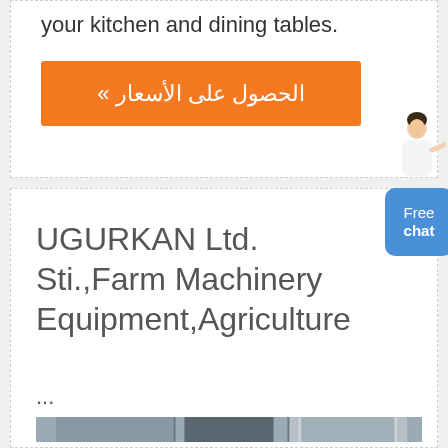your kitchen and dining tables.
[Figure (other): Orange button with Arabic text: الحصول على الأسعار »]
[Figure (other): Avatar figure of a woman pointing, with a blue Free chat button]
UGURKAN Ltd. Sti.,Farm Machinery Equipment,Agriculture
...
[Figure (photo): Exterior photo of a farm machinery facility with silos and banner advertisements]